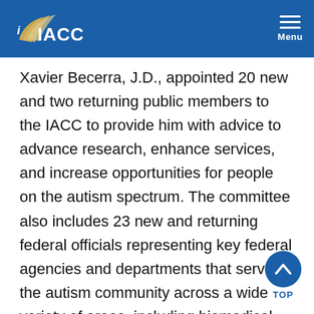IACC Menu
Xavier Becerra, J.D., appointed 20 new and two returning public members to the IACC to provide him with advice to advance research, enhance services, and increase opportunities for people on the autism spectrum. The committee also includes 23 new and returning federal officials representing key federal agencies and departments that serve the autism community across a wide variety of areas, including biomedical research, healthcare, education, and social services. Joshua Gordon, M.D., Ph.D., director of the National Institute of Mental Health, will